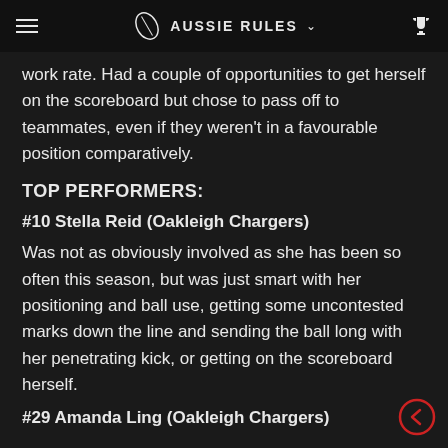AUSSIE RULES
work rate. Had a couple of opportunities to get herself on the scoreboard but chose to pass off to teammates, even if they weren't in a favourable position comparatively.
TOP PERFORMERS:
#10 Stella Reid (Oakleigh Chargers)
Was not as obviously involved as she has been so often this season, but was just smart with her positioning and ball use, getting some uncontested marks down the line and sending the ball long with her penetrating kick, or getting on the scoreboard herself.
#29 Amanda Ling (Oakleigh Chargers)